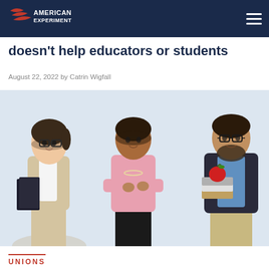American Experiment
doesn't help educators or students
August 22, 2022 by Catrin Wigfall
[Figure (photo): Three educators standing against white background: a young woman with glasses holding books on the left, a middle-aged woman with arms crossed in the center wearing pink, and a bearded man in a blazer holding books with an apple on top on the right.]
UNIONS